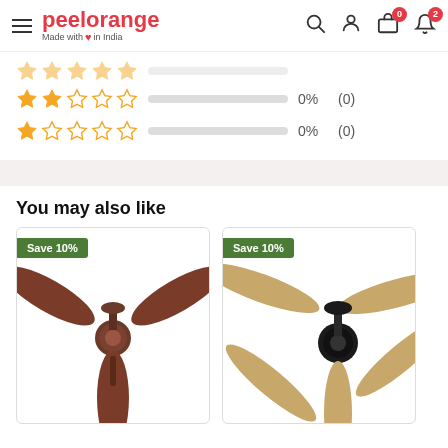peelorange - Made with love in India
[Figure (other): 2-star rating row with empty bar, 0%, (0)]
[Figure (other): 1-star rating row with empty bar, 0%, (0)]
You may also like
[Figure (photo): Ceiling fan product image - brown 3-blade ceiling fan with Save 10% badge]
[Figure (photo): Ceiling fan product image - black and wood-tone 5-blade ceiling fan with Save 10% badge]